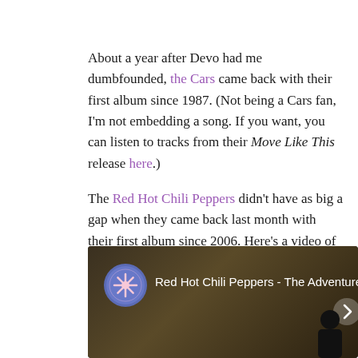About a year after Devo had me dumbfounded, the Cars came back with their first album since 1987. (Not being a Cars fan, I'm not embedding a song. If you want, you can listen to tracks from their Move Like This release here.)
The Red Hot Chili Peppers didn't have as big a gap when they came back last month with their first album since 2006. Here's a video of their first single from I'm With You:
[Figure (screenshot): YouTube video thumbnail showing Red Hot Chili Peppers - The Adventures o... with the RHCP logo (circular blue badge with asterisk) on left, dark brownish background, navigation arrows on sides.]